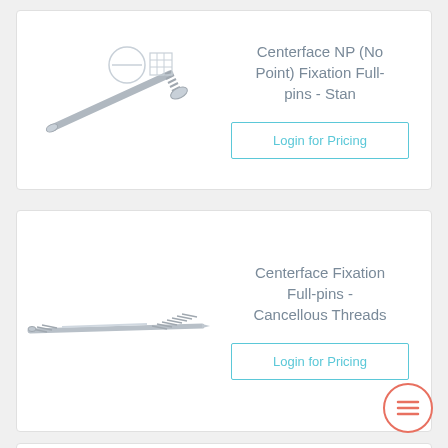[Figure (photo): Centerface NP (No Point) Fixation Full-pin medical device - a threaded metal pin with end caps shown]
Centerface NP (No Point) Fixation Full-pins - Stan
Login for Pricing
[Figure (photo): Centerface Fixation Full-pin with Cancellous Threads - a long thin threaded medical pin]
Centerface Fixation Full-pins - Cancellous Threads
Login for Pricing